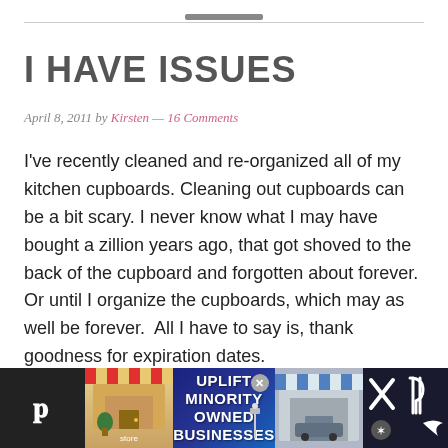I HAVE ISSUES
April 8, 2011 by Kirsten — 16 Comments
I've recently cleaned and re-organized all of my kitchen cupboards. Cleaning out cupboards can be a bit scary. I never know what I may have bought a zillion years ago, that got shoved to the back of the cupboard and forgotten about forever. Or until I organize the cupboards, which may as well be forever.  All I have to say is, thank goodness for expiration dates.
But it wasn't the expired stuff that was so scary.  What was alarming was that by better organizing my kitchen
[Figure (other): Advertisement banner: UPLIFT MINORITY OWNED BUSINESSES with store graphics and close button]